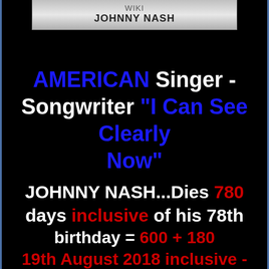WIKI
JOHNNY NASH
AMERICAN Singer - Songwriter "I Can See Clearly Now"
JOHNNY NASH...Dies 780 days inclusive of his 78th birthday = 600 + 180
19th August 2018 inclusive -